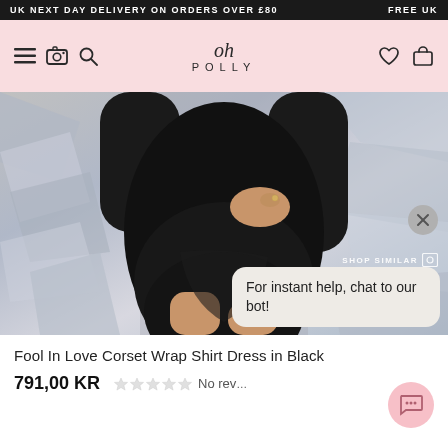UK NEXT DAY DELIVERY ON ORDERS OVER £80    FREE UK
[Figure (screenshot): Oh Polly navigation bar with hamburger menu, camera icon, search icon, Oh Polly logo in center, heart and bag icons on the right, pink background]
[Figure (photo): Close-up photo of a model wearing a black corset wrap shirt dress against a silver metallic background, with a chat popup overlay saying 'For instant help, chat to our bot!' and a 'SHOP SIMILAR' label]
Fool In Love Corset Wrap Shirt Dress in Black
791,00 KR
No rev...